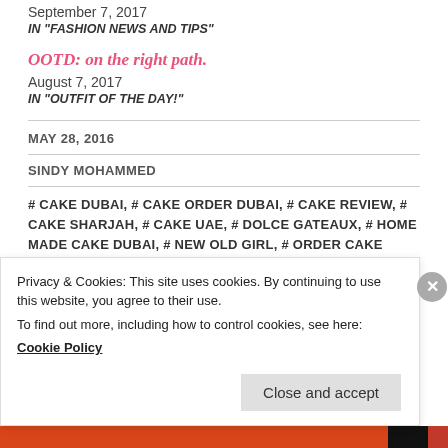September 7, 2017
IN "FASHION NEWS AND TIPS"
OOTD: on the right path.
August 7, 2017
IN "OUTFIT OF THE DAY!"
MAY 28, 2016
SINDY MOHAMMED
# CAKE DUBAI, # CAKE ORDER DUBAI, # CAKE REVIEW, # CAKE SHARJAH, # CAKE UAE, # DOLCE GATEAUX, # HOME MADE CAKE DUBAI, # NEW OLD GIRL, # ORDER CAKE SHARJAH, # PARTY CAKE DUBAI, # PARTY CAKE SHARJAH, # SAMAR JALIL, # SINDY
Privacy & Cookies: This site uses cookies. By continuing to use this website, you agree to their use. To find out more, including how to control cookies, see here: Cookie Policy
Close and accept